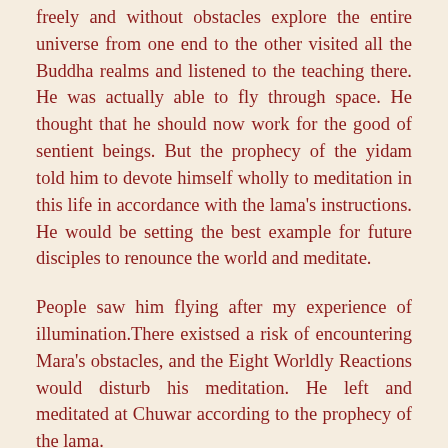freely and without obstacles explore the entire universe from one end to the other visited all the Buddha realms and listened to the teaching there. He was actually able to fly through space. He thought that he should now work for the good of sentient beings. But the prophecy of the yidam told him to devote himself wholly to meditation in this life in accordance with the lama's instructions. He would be setting the best example for future disciples to renounce the world and meditate.
People saw him flying after my experience of illumination.There existsed a risk of encountering Mara's obstacles, and the Eight Worldly Reactions would disturb his meditation. He left and meditated at Chuwar according to the prophecy of the lama.
But he was weakened by privation during long meditation and his foot stumbled on the uneven ground outside the cave, and he fell. The handle of the pot broke off. From the